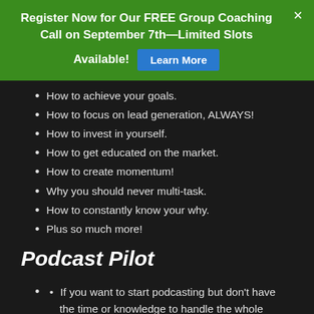Register Now for Our FREE Group Coaching Call on September 7th—Limited Slots Available! Learn More
How to achieve your goals.
How to focus on lead generation, ALWAYS!
How to invest in yourself.
How to get educated on the market.
How to create momentum!
Why you should never multi-task.
How to constantly know your why.
Plus so much more!
Podcast Pilot
If you want to start podcasting but don't have the time or knowledge to handle the whole